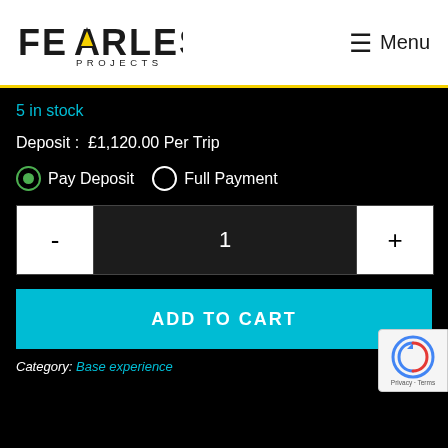[Figure (logo): Fearless Projects logo — bold sans-serif text with a triangular 'A' and 'PROJECTS' subtitle below]
≡  Menu
5 in stock
Deposit :  £1,120.00 Per Trip
⊙ Pay Deposit   ○ Full Payment
- 1 +
ADD TO CART
Category: Base experience